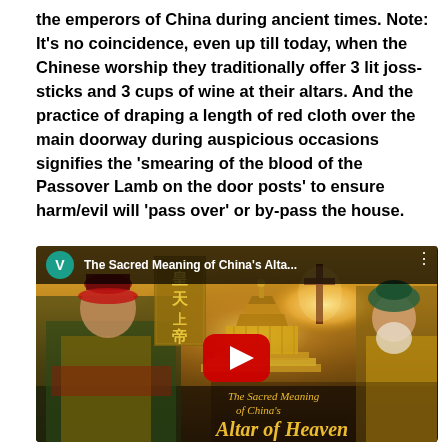the emperors of China during ancient times. Note: It's no coincidence, even up till today, when the Chinese worship they traditionally offer 3 lit joss-sticks and 3 cups of wine at their altars. And the practice of draping a length of red cloth over the main doorway during auspicious occasions signifies the 'smearing of the blood of the Passover Lamb on the door posts' to ensure harm/evil will 'pass over' or by-pass the house.
[Figure (screenshot): YouTube video thumbnail for 'The Sacred Meaning of China's Alta...' showing a man in traditional Chinese emperor robes on the left, the Temple of Heaven in the background, a cross silhouette glowing in sunlight, and a bearded man in a turban on the right. A red YouTube play button is centered. Bottom text reads 'The Sacred Meaning of China's Altar of Heaven' in italic gold font.]